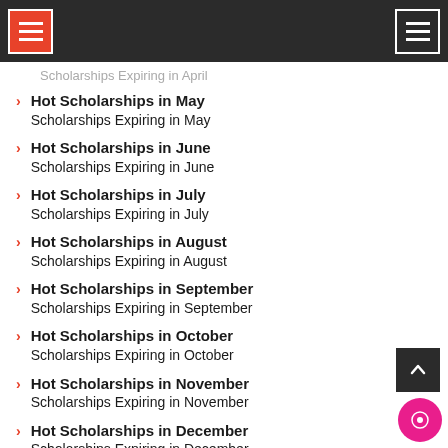[Navigation header with menu buttons]
Hot Scholarships in May
Scholarships Expiring in May
Hot Scholarships in June
Scholarships Expiring in June
Hot Scholarships in July
Scholarships Expiring in July
Hot Scholarships in August
Scholarships Expiring in August
Hot Scholarships in September
Scholarships Expiring in September
Hot Scholarships in October
Scholarships Expiring in October
Hot Scholarships in November
Scholarships Expiring in November
Hot Scholarships in December
Scholarships Expiring in December